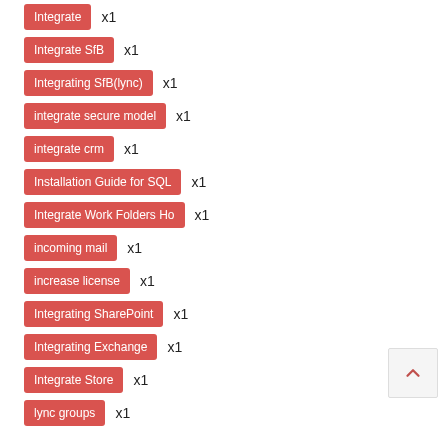Integrate x1
Integrate SfB x1
Integrating SfB(lync) x1
integrate secure model x1
integrate crm x1
Installation Guide for SQL x1
Integrate Work Folders Ho x1
incoming mail x1
increase license x1
Integrating SharePoint x1
Integrating Exchange x1
Integrate Store x1
lync groups x1